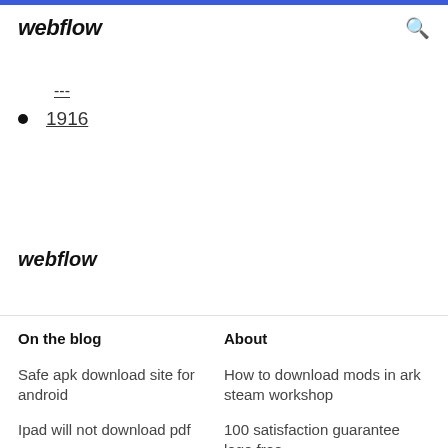webflow
---
1916
webflow
On the blog
About
Safe apk download site for android
How to download mods in ark steam workshop
Ipad will not download pdf
100 satisfaction guarantee logo free